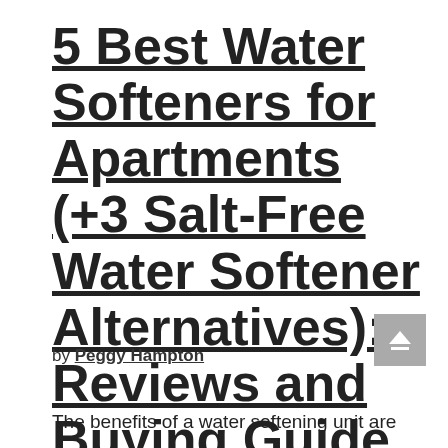5 Best Water Softeners for Apartments (+3 Salt-Free Water Softener Alternatives): Reviews and Buying Guide
by Peggy Hampton
The benefits of a water softening unit are